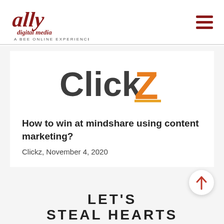[Figure (logo): Ally Digital Media logo — stylized red script 'ally' with 'digital media' below and 'A BEE ONLINE EXPERIENCE' tagline]
[Figure (logo): ClickZ logo — dark grey 'Click' text with orange bold 'Z' letter]
How to win at mindshare using content marketing?
Clickz, November 4, 2020
LET'S
STEAL HEARTS